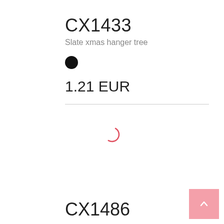CX1433
Slate xmas hanger tree
[Figure (illustration): Black filled circle color swatch]
1.21 EUR
[Figure (illustration): Loading spinner (partial red arc circle)]
[Figure (illustration): Back to top button - pink square with upward chevron arrow]
CX1486